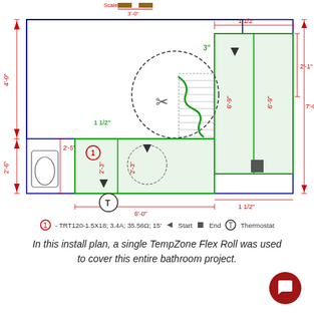[Figure (engineering-diagram): Bathroom floor plan showing TempZone Flex Roll installation layout with dimensions, heating cable path, thermostat location (T), start/end markers, and scale. Zones marked with cable routing, cut symbol, and dimension annotations including 4'-0", 2'-6", 7'-0", 2'-1", 1 1/2", 6'-0", 6'-9", 2'-5", 2'-3", 3".]
① - TRT120-1.5X18; 3.4A; 35.56Ω; 15'    ▶ Start    ■ End    ⓣ Thermostat
In this install plan, a single TempZone Flex Roll was used to cover this entire bathroom project.